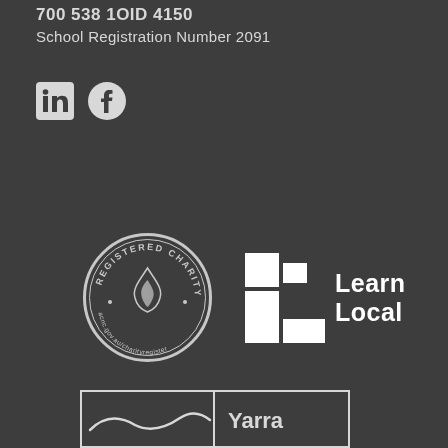700 538 1OID 4150
School Registration Number 2091
[Figure (logo): LinkedIn and Facebook social media icons (white on dark square/circle)]
[Figure (logo): Registered Charity badge circular logo with acnc.gov.au/charityregister text]
[Figure (logo): Learn Local logo with L-shaped icon and Learn Local text]
[Figure (logo): Yarra council logo partially visible at bottom]